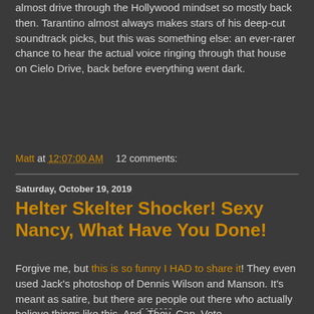almost drive through the Hollywood mindset so mostly back then. Tarantino almost always makes stars of his deep-cut soundtrack picks, but this was something else: an ever-rarer chance to hear the actual voice ringing through that house on Cielo Drive, back before everything went dark.
Matt at 12:07:00 AM   12 comments:
Saturday, October 19, 2019
Helter Skelter Shocker! Sexy Nancy, What Have You Done!
Forgive me, but this is so funny I HAD to share it! They even used Jack's photoshop of Dennis Wilson and Manson. It's meant as satire, but there are people out there who actually believe things like this. And. They. Can. Vote...
-------